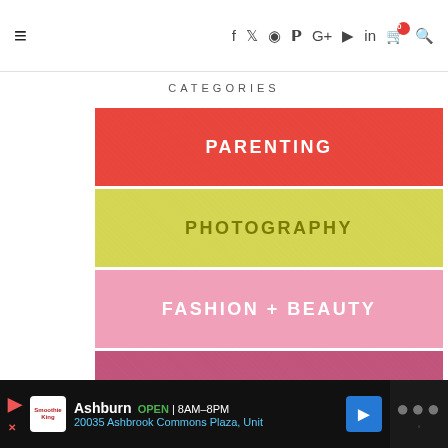Navigation bar with hamburger menu and social icons: f, Twitter, Instagram, Pinterest, G+, YouTube, LinkedIn, cart (0), search
CATEGORIES
PARENTING
PHOTOGRAPHY
FASHION + BEAUTY
SIMPLE FOOD
HOUSE + HOME
CRAFT, ACTIVITIES + DIY
TRAVEL
Ashburn OPEN | 8AM–8PM  20035 Ashbrook Commons Plaza, Unit